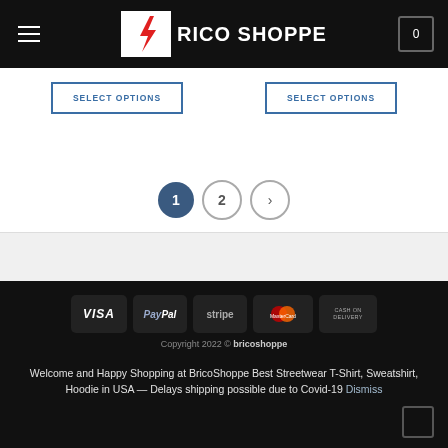Brico Shoppe
SELECT OPTIONS
SELECT OPTIONS
[Figure (other): Pagination controls showing page 1 (active, dark blue circle), page 2, and a next arrow button]
[Figure (other): Payment method badges: VISA, PayPal, stripe, MasterCard, CASH ON DELIVERY]
Copyright 2022 © bricoshoppe
Welcome and Happy Shopping at BricoShoppe Best Streetwear T-Shirt, Sweatshirt, Hoodie in USA — Delays shipping possible due to Covid-19 Dismiss